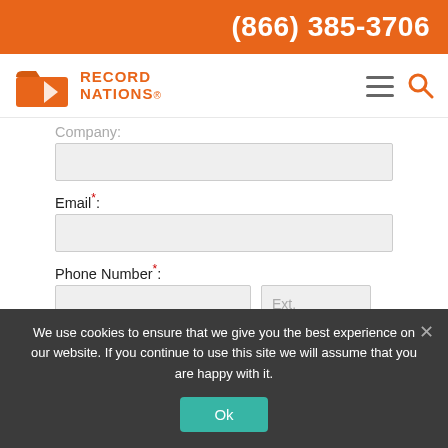(866) 385-3706
[Figure (logo): Record Nations logo with orange folder icon and text RECORD NATIONS]
Company:
Email*:
Phone Number*:
Zip Code*:
We use cookies to ensure that we give you the best experience on our website. If you continue to use this site we will assume that you are happy with it.
Ok